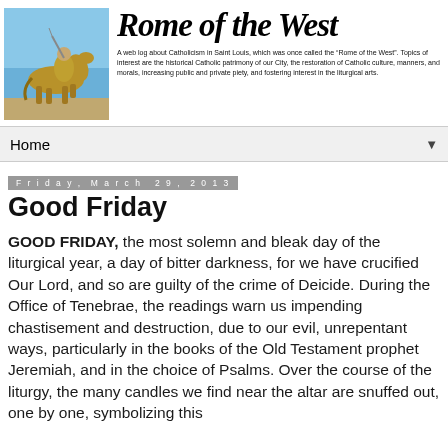[Figure (illustration): Equestrian statue of a king/knight on horseback against a blue sky background — the header image for the 'Rome of the West' blog]
Rome of the West
A web log about Catholicism in Saint Louis, which was once called the “Rome of the West”. Topics of interest are the historical Catholic patrimony of our City, the restoration of Catholic culture, manners, and morals, increasing public and private piety, and fostering interest in the liturgical arts.
Home
Friday, March 29, 2013
Good Friday
GOOD FRIDAY, the most solemn and bleak day of the liturgical year, a day of bitter darkness, for we have crucified Our Lord, and so are guilty of the crime of Deicide. During the Office of Tenebrae, the readings warn us impending chastisement and destruction, due to our evil, unrepentant ways, particularly in the books of the Old Testament prophet Jeremiah, and in the choice of Psalms. Over the course of the liturgy, the many candles we find near the altar are snuffed out, one by one, symbolizing this